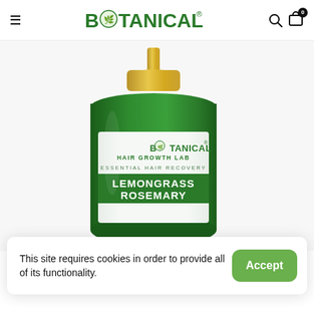≡  BOTANICAL®  🔍  🛒 0
[Figure (photo): Green glass bottle of Botanical Hair Growth Lab Essential Hair Recovery Lemongrass Rosemary product with gold pump cap, on white background]
This site requires cookies in order to provide all of its functionality.
Accept